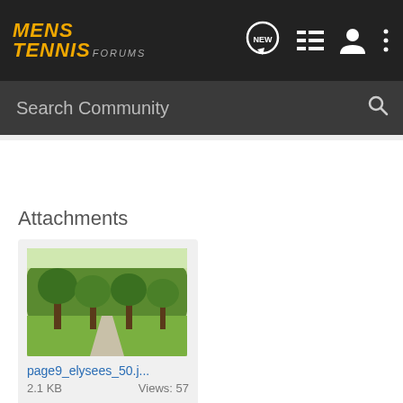[Figure (logo): Mens Tennis Forums logo in orange italic text on dark background]
Search Community
Attachments
[Figure (photo): Thumbnail photo of a tree-lined path with green grass, labeled page9_elysees_50.j...]
page9_elysees_50.j...
2.1 KB    Views: 57
Boston Red Sox